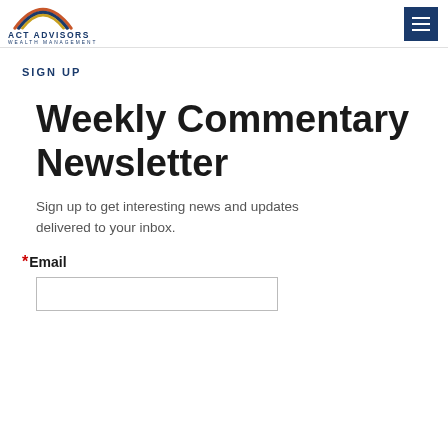[Figure (logo): ACT Advisors Wealth Management logo with rainbow arc graphic above text]
SIGN UP
Weekly Commentary Newsletter
Sign up to get interesting news and updates delivered to your inbox.
*Email